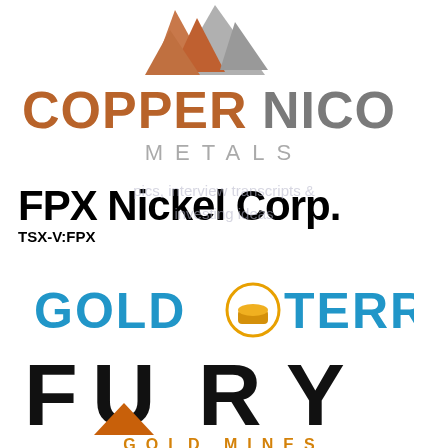[Figure (logo): CopperNico Metals logo with geometric mountain/arrow shapes in brown and gray, company name COPPERNICO in brown/gray letters, METALS below in spaced gray letters]
[Figure (logo): FPX Nickel Corp. logo — bold black text 'FPX Nickel Corp.' with ticker 'TSX-V:FPX' below]
[Figure (logo): Gold Terra logo — GOLD in blue bold letters, gold bar icon in a circle, TERRA in blue bold letters]
[Figure (logo): Fury Gold Mines logo — FURY in large bold black letters with orange triangle accent under U, GOLD MINES in orange spaced letters below]